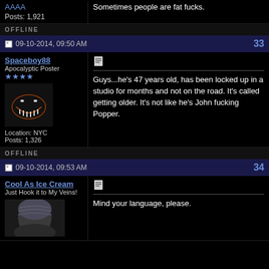AAAA
Posts: 1,921
Sometimes people are fat fucks.
OFFLINE
09-10-2014, 09:50 AM
33
Spaceboy88
Apocalyptic Poster
Location: NYC
Posts: 1,326
Guys...he's 47 years old, has been locked up in a studio for months and not on the road. It's called getting older. It's not like he's John fucking Popper.
OFFLINE
09-10-2014, 09:53 AM
34
Cool As Ice Cream
Just Hook it to My Veins!
Mind your language, please.